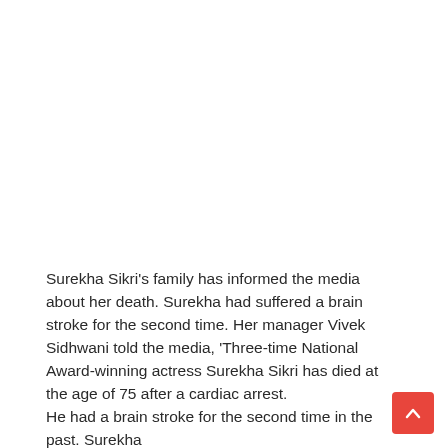Surekha Sikri's family has informed the media about her death. Surekha had suffered a brain stroke for the second time. Her manager Vivek Sidhwani told the media, 'Three-time National Award-winning actress Surekha Sikri has died at the age of 75 after a cardiac arrest.
He had a brain stroke for the second time in the past. Surekha